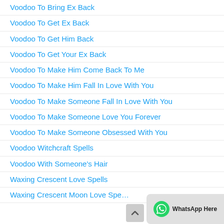Voodoo To Bring Ex Back
Voodoo To Get Ex Back
Voodoo To Get Him Back
Voodoo To Get Your Ex Back
Voodoo To Make Him Come Back To Me
Voodoo To Make Him Fall In Love With You
Voodoo To Make Someone Fall In Love With You
Voodoo To Make Someone Love You Forever
Voodoo To Make Someone Obsessed With You
Voodoo Witchcraft Spells
Voodoo With Someone's Hair
Waxing Crescent Love Spells
Waxing Crescent Moon Love Spells